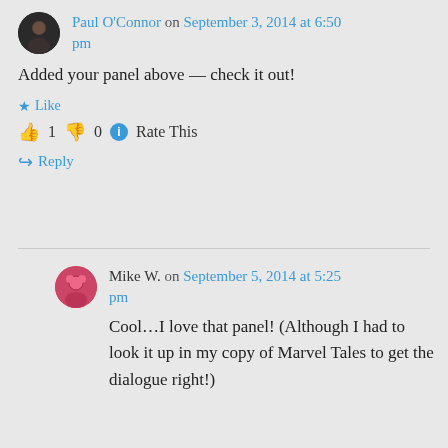Paul O'Connor on September 3, 2014 at 6:50 pm
Added your panel above — check it out!
Like
1  0  Rate This
Reply
Mike W. on September 5, 2014 at 5:25 pm
Cool…I love that panel! (Although I had to look it up in my copy of Marvel Tales to get the dialogue right!)